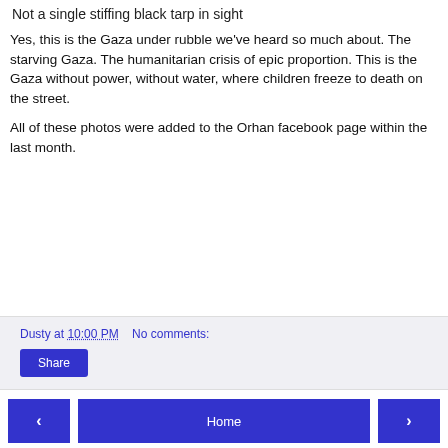Not a single stiffing black tarp in sight
Yes, this is the Gaza under rubble we've heard so much about. The starving Gaza. The humanitarian crisis of epic proportion. This is the Gaza without power, without water, where children freeze to death on the street.
All of these photos were added to the Orhan facebook page within the last month.
Dusty at 10:00 PM   No comments:
Share
‹   Home   ›